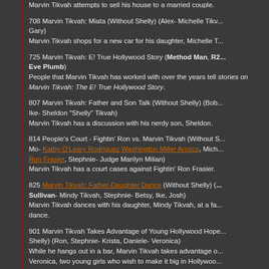Marvin Tikvah attempts to sell his house to a married couple.
708 Marvin Tikvah: Miata (Without Shelly) (Alex- Michelle Tikv... Gary)
Marvin Tikvah shops for a new car for his daughter, Michelle T...
725 Marvin Tikvah: E! True Hollywood Story (Method Man, R2... Eve Plumb)
People that Marvin Tikvah has worked with over the years tell stories on Marvin Tikvah: The E! True Hollywood Story.
807 Marvin Tikvah: Father and Son Talk (Without Shelly) (Bob... Ike- Sheldon "Shelly" Tikvah)
Marvin Tikvah has a discussion with his nerdy son, Sheldon.
814 People's Court - Fightin' Ron vs. Marvin Tikvah (Without S... Mo- Kathy O'Leary Rodriguez Washington Miller Arozco, Mich... Ron Frasier, Stephnie- Judge Marilyn Milian)
Marvin Tikvah has a court cases against Fightin' Ron Frasier.
825 Marvin Tikvah: Father-Daughter Dance (Without Shelly) (... Sullivan- Mindy Tikvah, Stephnie- Betsy, Ike, Josh)
Marvin Tikvah dances with his daughter, Mindy Tikvah, at a fa... dance.
901 Marvin Tikvah Takes Advantage of Young Hollywood Hope... Shelly) (Ron, Stephnie- Krista, Daniele- Veronica)
While he hangs out in a bar, Marvin Tikvah takes advantage o... Veronica, two young girls who wish to make it big in Hollywoo...
906 Music Video: Orlando Jones "Hey MAD!" (Without Shelly...